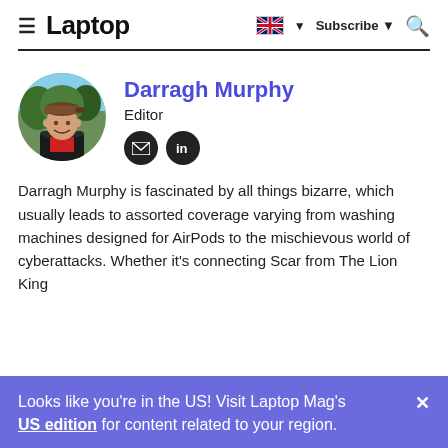≡ Laptop  🇬🇧 ▼  Subscribe ▼  🔍
Darragh Murphy
Editor
[Figure (photo): Round profile photo of Darragh Murphy, a man wearing a cap and jacket, smiling]
Darragh Murphy is fascinated by all things bizarre, which usually leads to assorted coverage varying from washing machines designed for AirPods to the mischievous world of cyberattacks. Whether it's connecting Scar from The Lion King
Looks like you're in the US! Visit Laptop Mag's US edition for content related to your region.